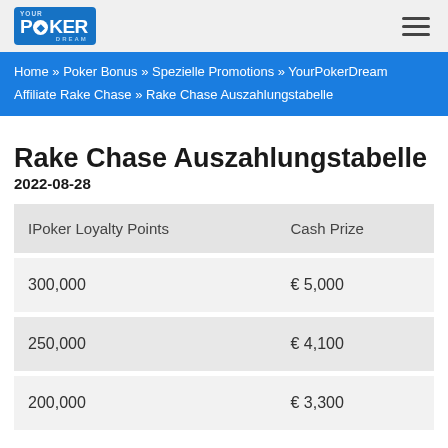YourPokerDream
Home » Poker Bonus » Spezielle Promotions » YourPokerDream Affiliate Rake Chase » Rake Chase Auszahlungstabelle
Rake Chase Auszahlungstabelle
2022-08-28
| IPoker Loyalty Points | Cash Prize |
| --- | --- |
| 300,000 | € 5,000 |
| 250,000 | € 4,100 |
| 200,000 | € 3,300 |